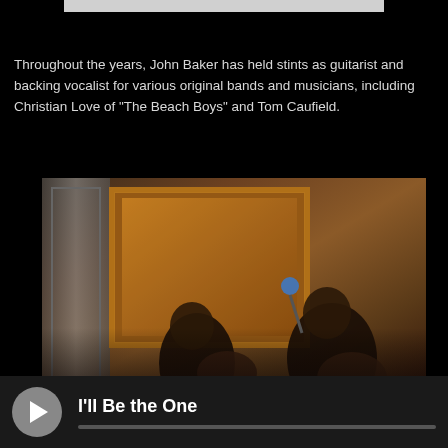Throughout the years, John Baker has held stints as guitarist and backing vocalist for various original bands and musicians, including Christian Love of "The Beach Boys" and Tom Caufield.
[Figure (photo): Two musicians performing in a dimly lit studio room with warm amber lighting, one playing guitar near a door, with a microphone visible. A framed artwork is visible on the back wall.]
I'll Be the One